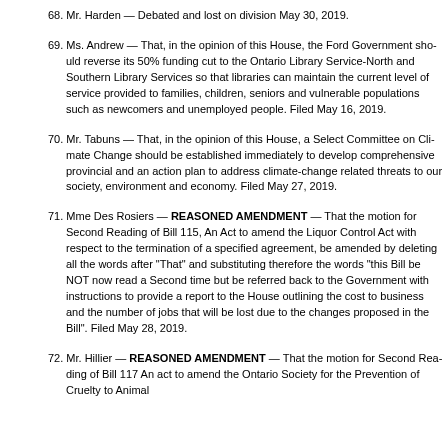68. Mr. Harden — Debated and lost on division May 30, 2019.
69. Ms. Andrew — That, in the opinion of this House, the Ford Government should reverse its 50% funding cut to the Ontario Library Service-North and Southern Library Services so that libraries can maintain the current level of service provided to families, children, seniors and vulnerable populations such as newcomers and unemployed people. Filed May 16, 2019.
70. Mr. Tabuns — That, in the opinion of this House, a Select Committee on Climate Change should be established immediately to develop comprehensive provincial and an action plan to address climate-change related threats to our society, environment and economy. Filed May 27, 2019.
71. Mme Des Rosiers — REASONED AMENDMENT — That the motion for Second Reading of Bill 115, An Act to amend the Liquor Control Act with respect to the termination of a specified agreement, be amended by deleting all the words after "That" and substituting therefore the words "this Bill be NOT now read a Second time but be referred back to the Government with instructions to provide a report to the House outlining the cost to business and the number of jobs that will be lost due to the changes proposed in the Bill". Filed May 28, 2019.
72. Mr. Hillier — REASONED AMENDMENT — That the motion for Second Reading of Bill 117 An act to amend the Ontario Society for the Prevention of Cruelty to Animals